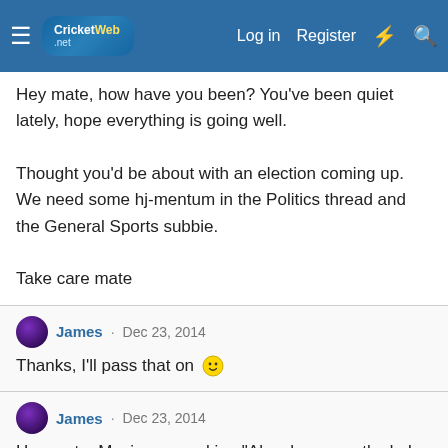CricketWeb · Log in · Register
Hey mate, how have you been? You've been quiet lately, hope everything is going well.

Thought you'd be about with an election coming up. We need some hj-mentum in the Politics thread and the General Sports subbie.

Take care mate
James · Dec 23, 2014
Thanks, I'll pass that on 🙂
James · Dec 23, 2014
Hey mate, Maxim was asking "Also, how exactly do I go about hanging them up, do they have strings or something attached so I can just go up to the advertising boards and tie it to the railing on top?"